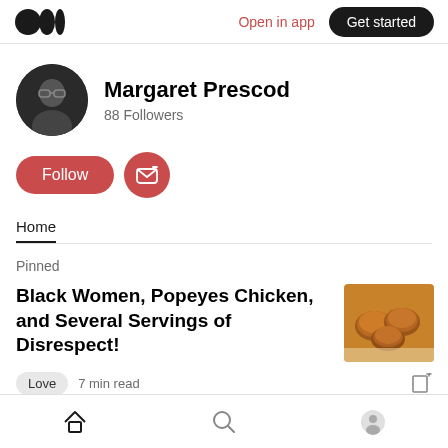Open in app  Get started
Margaret Prescod
88 Followers
Follow
Home
Pinned
Black Women, Popeyes Chicken, and Several Servings of Disrespect!
[Figure (photo): Photo of fried chicken pieces on a wooden board]
Love  7 min read